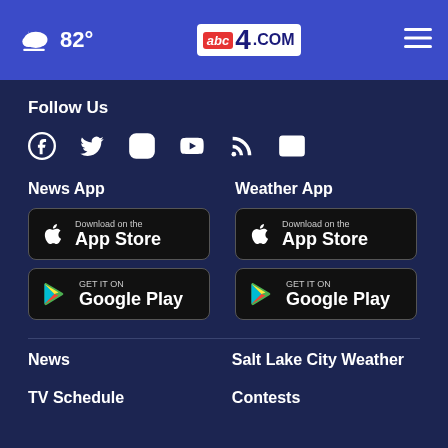82° abc4.com
Follow Us
[Figure (infographic): Social media icons: Facebook, Twitter, Instagram, YouTube, RSS, Email]
News App
[Figure (infographic): Download on the App Store button]
[Figure (infographic): GET IT ON Google Play button]
Weather App
[Figure (infographic): Download on the App Store button]
[Figure (infographic): GET IT ON Google Play button]
News
Salt Lake City Weather
TV Schedule
Contests